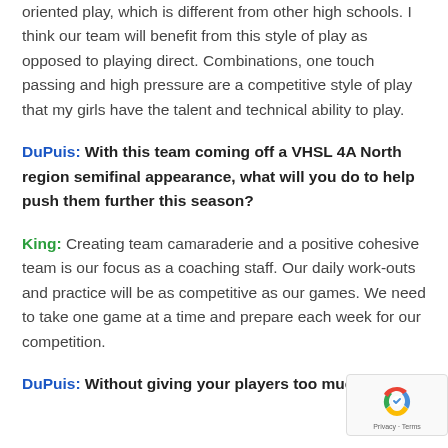oriented play, which is different from other high schools. I think our team will benefit from this style of play as opposed to playing direct. Combinations, one touch passing and high pressure are a competitive style of play that my girls have the talent and technical ability to play.
DuPuis: With this team coming off a VHSL 4A North region semifinal appearance, what will you do to help push them further this season?
King: Creating team camaraderie and a positive cohesive team is our focus as a coaching staff. Our daily work-outs and practice will be as competitive as our games. We need to take one game at a time and prepare each week for our competition.
DuPuis: Without giving your players too much insider